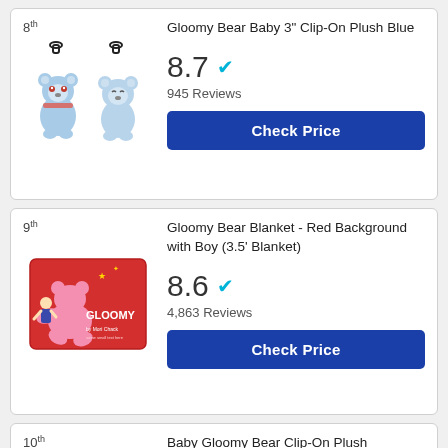8th — Gloomy Bear Baby 3" Clip-On Plush Blue — Score: 8.7 — 945 Reviews — Check Price
9th — Gloomy Bear Blanket - Red Background with Boy (3.5' Blanket) — Score: 8.6 — 4,863 Reviews — Check Price
10th — Baby Gloomy Bear Clip-On Plush